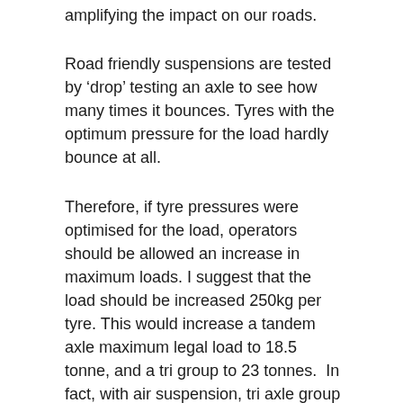amplifying the impact on our roads.
Road friendly suspensions are tested by ‘drop’ testing an axle to see how many times it bounces. Tyres with the optimum pressure for the load hardly bounce at all.
Therefore, if tyre pressures were optimised for the load, operators should be allowed an increase in maximum loads. I suggest that the load should be increased 250kg per tyre. This would increase a tandem axle maximum legal load to 18.5 tonne, and a tri group to 23 tonnes. In fact, with air suspension, tri axle group loads should be 25 tonne, as road damage will still be less than our current old fashioned and wasteful practice of 100 psi in all tyres.